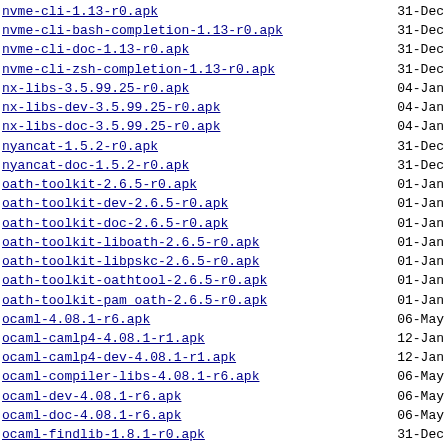nvme-cli-1.13-r0.apk  31-Dec
nvme-cli-bash-completion-1.13-r0.apk  31-Dec
nvme-cli-doc-1.13-r0.apk  31-Dec
nvme-cli-zsh-completion-1.13-r0.apk  31-Dec
nx-libs-3.5.99.25-r0.apk  04-Jan
nx-libs-dev-3.5.99.25-r0.apk  04-Jan
nx-libs-doc-3.5.99.25-r0.apk  04-Jan
nyancat-1.5.2-r0.apk  31-Dec
nyancat-doc-1.5.2-r0.apk  31-Dec
oath-toolkit-2.6.5-r0.apk  01-Jan
oath-toolkit-dev-2.6.5-r0.apk  01-Jan
oath-toolkit-doc-2.6.5-r0.apk  01-Jan
oath-toolkit-liboath-2.6.5-r0.apk  01-Jan
oath-toolkit-libpskc-2.6.5-r0.apk  01-Jan
oath-toolkit-oathtool-2.6.5-r0.apk  01-Jan
oath-toolkit-pam_oath-2.6.5-r0.apk  01-Jan
ocaml-4.08.1-r6.apk  06-May
ocaml-camlp4-4.08.1-r1.apk  12-Jan
ocaml-camlp4-dev-4.08.1-r1.apk  12-Jan
ocaml-compiler-libs-4.08.1-r6.apk  06-May
ocaml-dev-4.08.1-r6.apk  06-May
ocaml-doc-4.08.1-r6.apk  06-May
ocaml-findlib-1.8.1-r0.apk  31-Dec
ocaml-findlib-dev-1.8.1-r0.apk  31-Dec
ocaml-findlib-doc-1.8.1-r0.apk  31-Dec
ocaml-ocamlbuild-0.14.0-r2.apk  12-Jan
ocaml-ocamlbuild-dev-0.14.0-r2.apk  12-Jan
ocaml-ocamldoc-4.08.1-r6.apk  06-May
ocaml-runtime-4.08.1-r6.apk  06-May
ocamlbuild-0.14.0-r2.apk  12-Jan